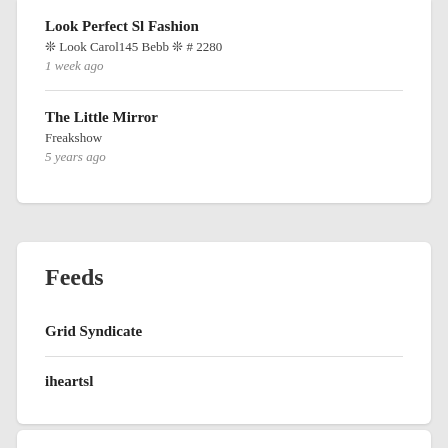Look Perfect Sl Fashion
❊ Look Carol145 Bebb ❊ # 2280
1 week ago
The Little Mirror
Freakshow
5 years ago
Feeds
Grid Syndicate
iheartsl